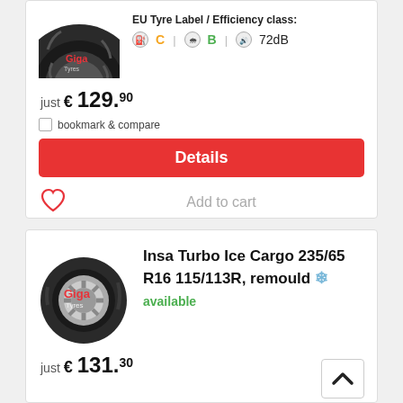[Figure (photo): Giga Tyres tire image (partial, top of card 1)]
EU Tyre Label / Efficiency class:
C | B | 72dB
just € 129.90
bookmark & compare
Details
Add to cart
[Figure (photo): Giga Tyres tire image for Insa Turbo Ice Cargo]
Insa Turbo Ice Cargo 235/65 R16 115/113R, remould ❄ available
just € 131.30